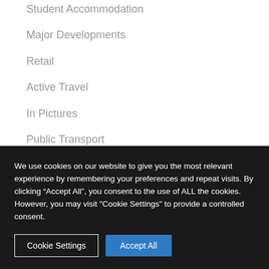Student Accommodation
Major Developments
Retail
Active Travel
In Pictures
Public Transport
Public Realm
Public Art
Glasgow's Canal
We use cookies on our website to give you the most relevant experience by remembering your preferences and repeat visits. By clicking “Accept All”, you consent to the use of ALL the cookies. However, you may visit "Cookie Settings" to provide a controlled consent.
Cookie Settings | Accept All